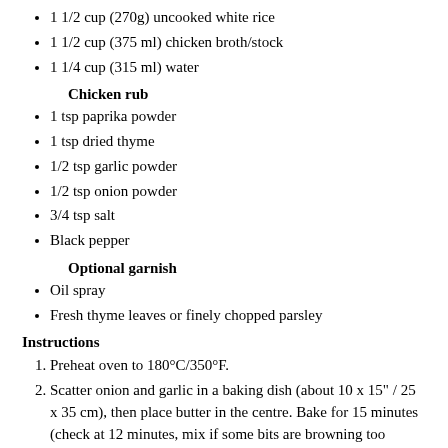1 1/2 cup (270g) uncooked white rice
1 1/2 cup (375 ml) chicken broth/stock
1 1/4 cup (315 ml) water
Chicken rub
1 tsp paprika powder
1 tsp dried thyme
1/2 tsp garlic powder
1/2 tsp onion powder
3/4 tsp salt
Black pepper
Optional garnish
Oil spray
Fresh thyme leaves or finely chopped parsley
Instructions
Preheat oven to 180°C/350°F.
Scatter onion and garlic in a baking dish (about 10 x 15" / 25 x 35 cm), then place butter in the centre. Bake for 15 minutes (check at 12 minutes, mix if some bits are browning too much).